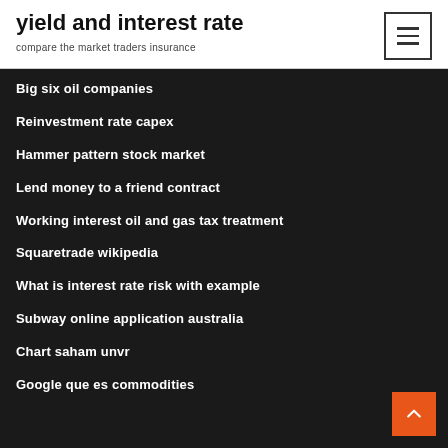yield and interest rate
compare the market traders insurance
Big six oil companies
Reinvestment rate capex
Hammer pattern stock market
Lend money to a friend contract
Working interest oil and gas tax treatment
Squaretrade wikipedia
What is interest rate risk with example
Subway online application australia
Chart saham unvr
Google que es commodities